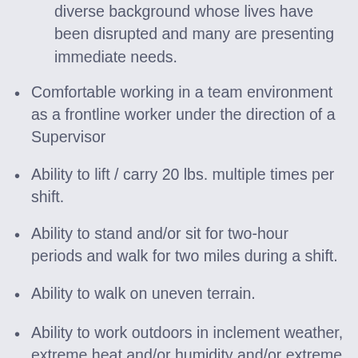Comfortable interacting with people from various diverse background whose lives have been disrupted and many are presenting immediate needs.
Comfortable working in a team environment as a frontline worker under the direction of a Supervisor
Ability to lift / carry 20 lbs. multiple times per shift.
Ability to stand and/or sit for two-hour periods and walk for two miles during a shift.
Ability to walk on uneven terrain.
Ability to work outdoors in inclement weather, extreme heat and/or humidity and/or extreme cold.
Ability to climb two or more flights of stairs.